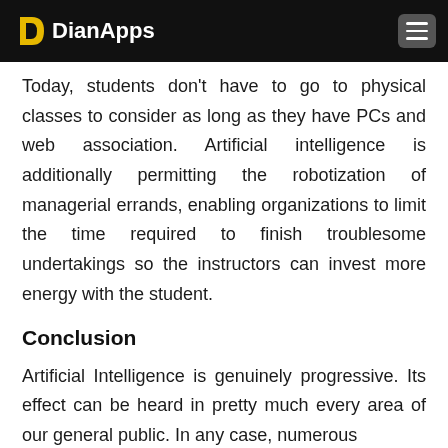DianApps
Today, students don't have to go to physical classes to consider as long as they have PCs and web association. Artificial intelligence is additionally permitting the robotization of managerial errands, enabling organizations to limit the time required to finish troublesome undertakings so the instructors can invest more energy with the student.
Conclusion
Artificial Intelligence is genuinely progressive. Its effect can be heard in pretty much every area of our general public. In any case, numerous